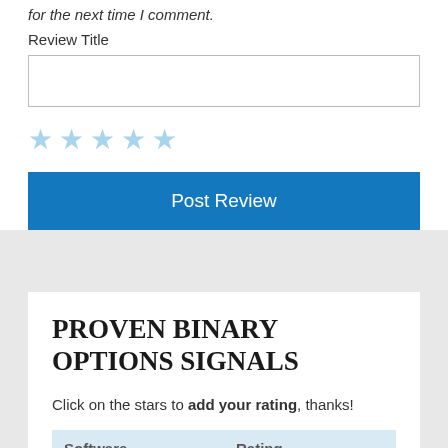for the next time I comment.
Review Title
[Figure (other): Empty text input field for review title]
[Figure (other): Five empty star rating icons in light blue]
Post Review
PROVEN BINARY OPTIONS SIGNALS
Click on the stars to add your rating, thanks!
| Software | Rating |
| --- | --- |
| [logo image] | ★★★★½ (4.4) |